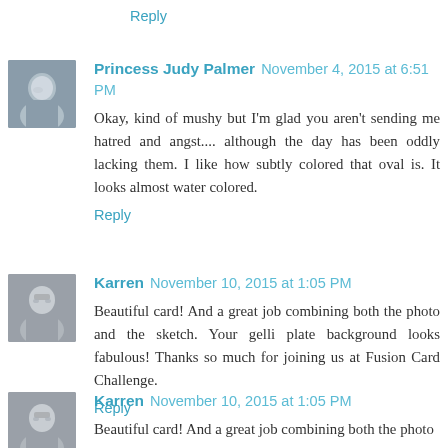Reply
Princess Judy Palmer  November 4, 2015 at 6:51 PM
Okay, kind of mushy but I'm glad you aren't sending me hatred and angst.... although the day has been oddly lacking them. I like how subtly colored that oval is. It looks almost water colored.
Reply
Karren  November 10, 2015 at 1:05 PM
Beautiful card! And a great job combining both the photo and the sketch. Your gelli plate background looks fabulous! Thanks so much for joining us at Fusion Card Challenge.
Reply
Karren  November 10, 2015 at 1:05 PM
Beautiful card! And a great job combining both the photo